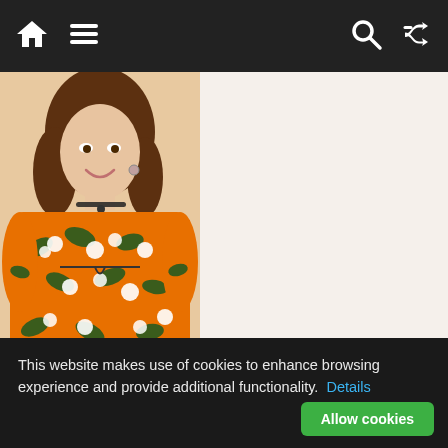Navigation bar with home, menu, search, and shuffle icons
[Figure (photo): A woman wearing an off-shoulder orange floral dress with white flowers and green leaves, smiling, with brown curly hair and a black choker necklace]
This website makes use of cookies to enhance browsing experience and provide additional functionality. Details
Allow cookies